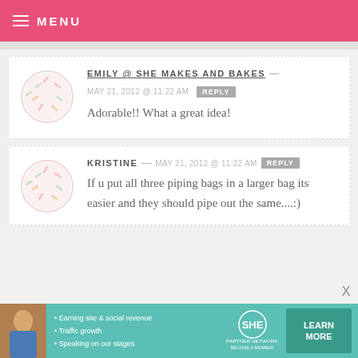MENU
EMILY @ SHE MAKES AND BAKES — MAY 21, 2012 @ 11:22 AM REPLY
Adorable!! What a great idea!
KRISTINE — MAY 21, 2012 @ 11:22 AM REPLY
If u put all three piping bags in a larger bag its easier and they should pipe out the same....:)
[Figure (infographic): Advertisement banner for SHE Partner Network with photo of woman, bullet points about earning site & social revenue, traffic growth, speaking on our stages, SHE logo, and LEARN MORE button]